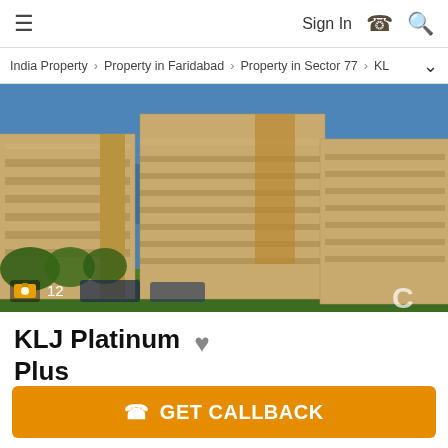≡  Sign In  📞  🔍
India Property > Property in Faridabad > Property in Sector 77 > KL
[Figure (photo): Architectural rendering of KLJ Platinum Plus residential apartment complex showing multiple multi-storey beige/yellow buildings against a blue sky with green landscaping in front. Photo counter showing camera icon and '12' in bottom left corner.]
KLJ Platinum Plus
GET CALLBACK